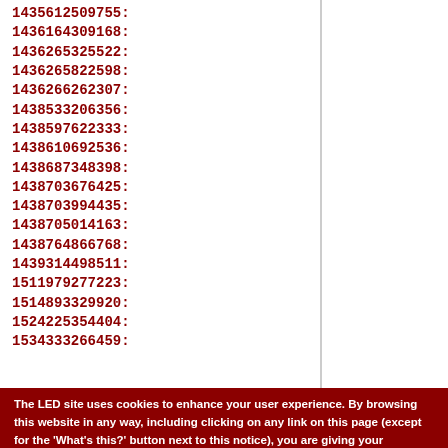1435612509755:
1436164309168:
1436265325522:
1436265822598:
1436266262307:
1438533206356:
1438597622333:
1438610692536:
1438687348398:
1438703676425:
1438703994435:
1438705014163:
1438764866768:
1439314498511:
1511979277223:
1514893329920:
1524225354404:
1534333266459:
The LED site uses cookies to enhance your user experience. By browsing this website in any way, including clicking on any link on this page (except for the 'What's this?' button next to this notice), you are giving your